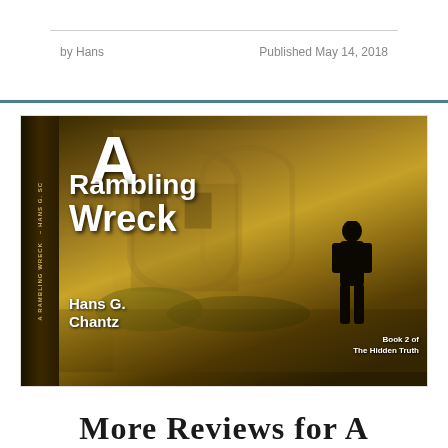by Hans
Published May 14, 2018
[Figure (photo): Book cover of 'A Rambling Wreck' by Hans G. Chantz, Book 2 of The Hidden Truth series. Shows a 3D book with spine and front cover. Cover features sepia-toned urban street scene with silhouette of a man, large white title text.]
More Reviews for A